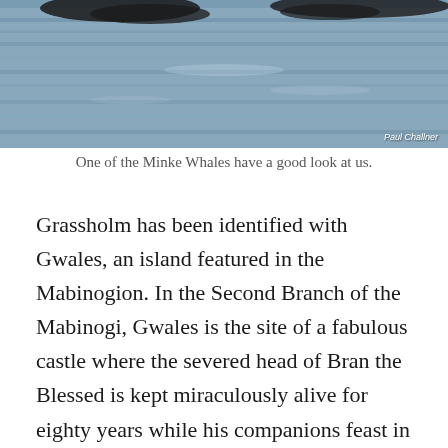[Figure (photo): Photograph of Minke Whales at the water surface, with rippled blue-grey water. Photo credit: Paul Challner in bottom right corner.]
One of the Minke Whales have a good look at us.
Grassholm has been identified with Gwales, an island featured in the Mabinogion. In the Second Branch of the Mabinogi, Gwales is the site of a fabulous castle where the severed head of Bran the Blessed is kept miraculously alive for eighty years while his companions feast in blissful forgetfulness. Maybe more on this in another post.
[Figure (photo): Photograph of a whale fin (dorsal fin) visible above bright blue water.]